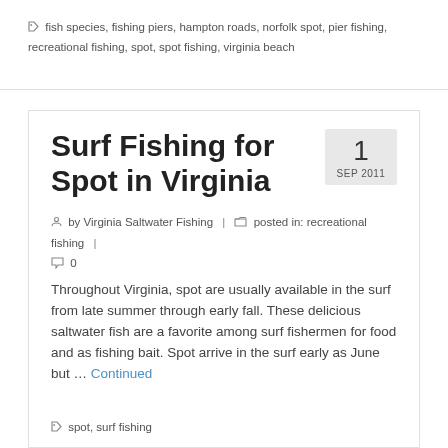fish species, fishing piers, hampton roads, norfolk spot, pier fishing, recreational fishing, spot, spot fishing, virginia beach
Surf Fishing for Spot in Virginia
by Virginia Saltwater Fishing | posted in: recreational fishing | 0
Throughout Virginia, spot are usually available in the surf from late summer through early fall. These delicious saltwater fish are a favorite among surf fishermen for food and as fishing bait. Spot arrive in the surf early as June but … Continued
spot, surf fishing